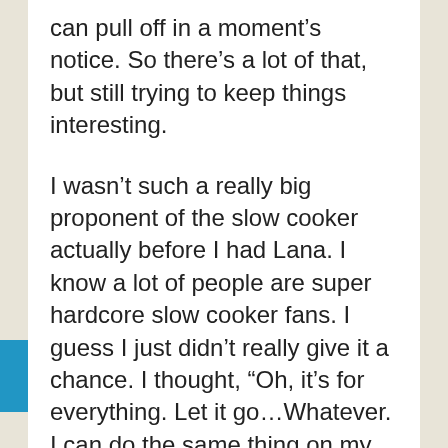can pull off in a moment's notice. So there's a lot of that, but still trying to keep things interesting.
I wasn't such a really big proponent of the slow cooker actually before I had Lana. I know a lot of people are super hardcore slow cooker fans. I guess I just didn't really give it a chance. I thought, "Oh, it's for everything. Let it go...Whatever. I can do the same thing on my stove," but it is really nice to be able to start something in the morning and then be able to leave the house and run errands or whatever and come back. I use my rice cooker for oatmeal which makes breakfast a no-